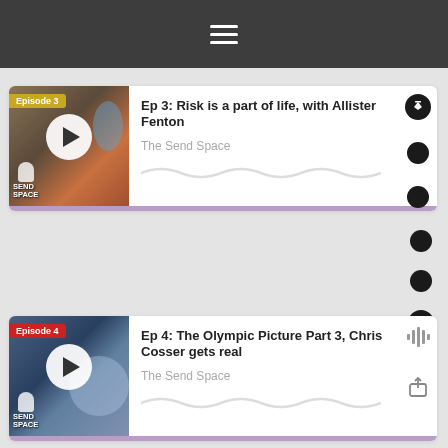[Figure (screenshot): Mobile app top navigation bar with dark grey background and white hamburger menu icon]
[Figure (screenshot): Podcast episode card for Episode 3: Risk is a part of life, with Allister Fenton - The Send Space, with thumbnail showing rock climbing, play button, episode badge, action icons]
Ep 3: Risk is a part of life, with Allister Fenton
The Send Space
[Figure (screenshot): Podcast episode card for Episode 4: The Olympic Picture Part 3, Chris Cosser gets real - The Send Space, with thumbnail showing crowd/athletes, play button, episode badge, action icons]
Ep 4: The Olympic Picture Part 3, Chris Cosser gets real
The Send Space